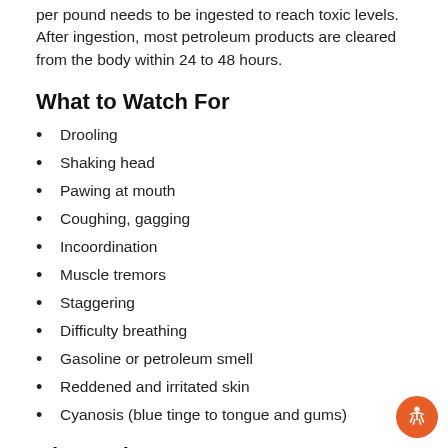per pound needs to be ingested to reach toxic levels. After ingestion, most petroleum products are cleared from the body within 24 to 48 hours.
What to Watch For
Drooling
Shaking head
Pawing at mouth
Coughing, gagging
Incoordination
Muscle tremors
Staggering
Difficulty breathing
Gasoline or petroleum smell
Reddened and irritated skin
Cyanosis (blue tinge to tongue and gums)
Diagnosis